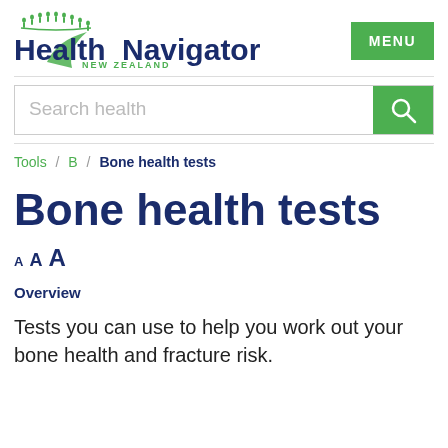[Figure (logo): Health Navigator New Zealand logo with green arc and people icons above text]
MENU
Search health
Tools / B / Bone health tests
Bone health tests
A A A
Overview
Tests you can use to help you work out your bone health and fracture risk.